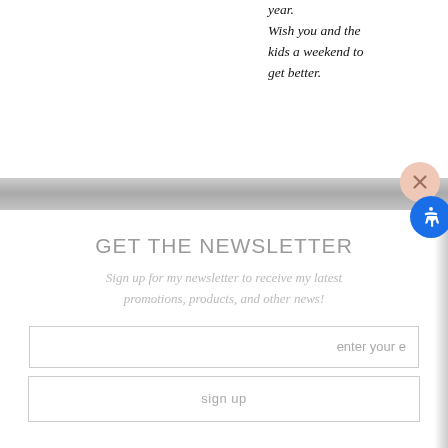year.
Wish you and the kids a weekend to get better.
GET THE NEWSLETTER
Sign up for my newsletter to receive my latest promotions, products, and other news!
enter your e
sign up